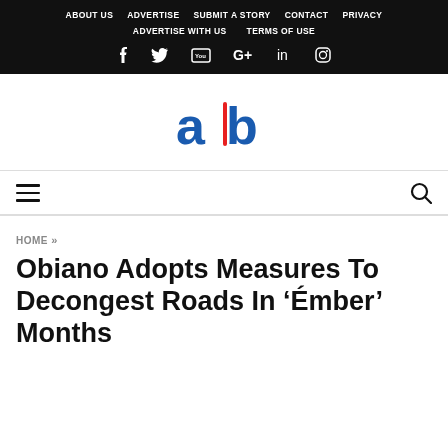ABOUT US  ADVERTISE  SUBMIT A STORY  CONTACT  PRIVACY  ADVERTISE WITH US  TERMS OF USE
[Figure (logo): Social media icons row: Facebook, Twitter, YouTube, Google+, LinkedIn, Instagram]
[Figure (logo): ab logo — blue 'a', red vertical bar, blue 'b']
[Figure (other): Hamburger menu icon (three horizontal lines) on left, search magnifier icon on right]
HOME »
Obiano Adopts Measures To Decongest Roads In ‘Émber’ Months